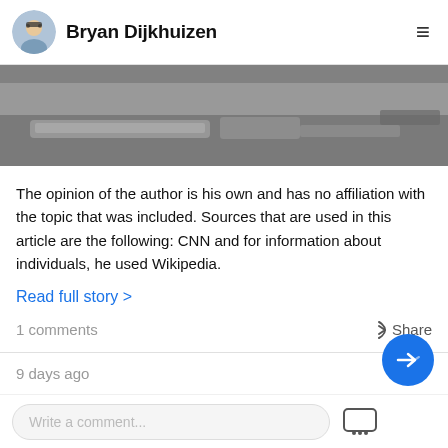Bryan Dijkhuizen
[Figure (photo): Partial photo showing a street/ground scene with metal rails or rods, vehicle parts visible, asphalt surface.]
The opinion of the author is his own and has no affiliation with the topic that was included. Sources that are used in this article are the following: CNN and for information about individuals, he used Wikipedia.
Read full story >
1 comments
Share
9 days ago
Write a comment...